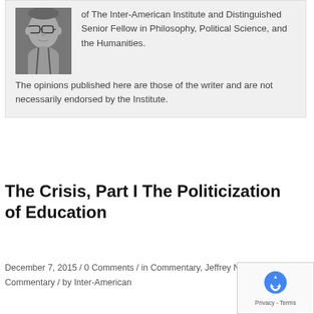[Figure (photo): Black and white portrait photo of an older man wearing glasses and suspenders]
of The Inter-American Institute and Distinguished Senior Fellow in Philosophy, Political Science, and the Humanities.
The opinions published here are those of the writer and are not necessarily endorsed by the Institute.
The Crisis, Part I The Politicization of Education
December 7, 2015  /  0 Comments  /  in Commentary, Jeffrey Nyquist Commentary  /  by Inter-American